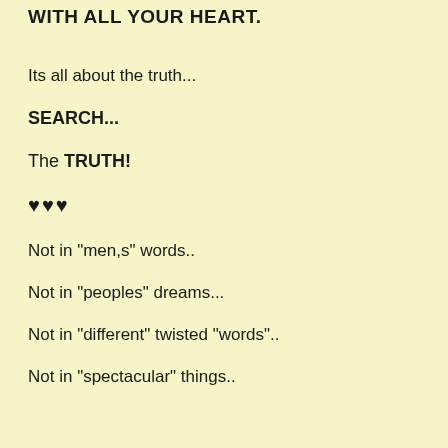WITH ALL YOUR HEART.
Its all about the truth...
SEARCH...
The TRUTH!
♥♥♥
Not in "men,s" words..
Not in "peoples" dreams...
Not in "different" twisted "words"..
Not in "spectacular" things..